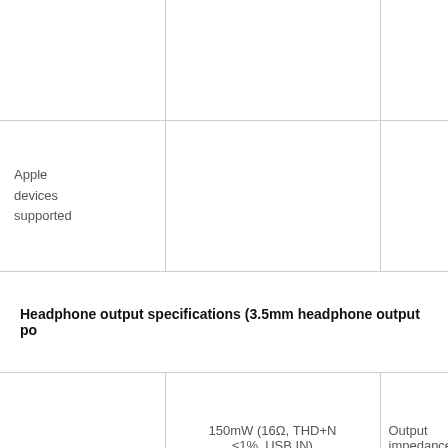|  |  |  |
| --- | --- | --- |
|  |  |  |
| Apple devices supported |  |  |
| Headphone output specifications (3.5mm headphone output port) |  |  |
|  | 150mW (16Ω, THD+N ≤1%, USB IN) | Output impedance |
| Output | 160mW (32Ω, THD+N |  |